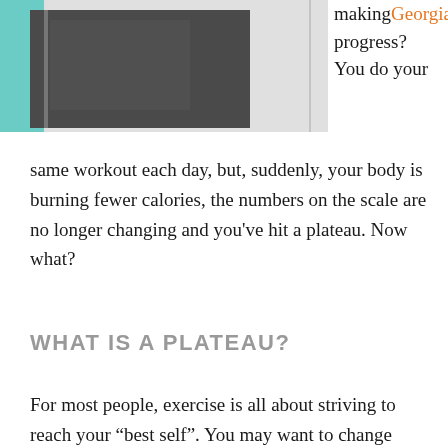[Figure (photo): Partial photo of exercise/workout equipment (appears to be a dark object, possibly a dumbbell or exercise mat) against a light background with a teal/turquoise element at top left. A vertical line/rule is visible on the right side.]
making progress? You do your same workout each day, but, suddenly, your body is burning fewer calories, the numbers on the scale are no longer changing and you've hit a plateau. Now what?
WHAT IS A PLATEAU?
For most people, exercise is all about striving to reach your "best self". You may want to change how you look or how much you weigh. You might want more energy or to feel more flexible. So you start a consistent exercise routine. The first few weeks are exhilarating. You feel the muscles firming up and your waist getting smaller. But suddenly it all may stop. You are not doing anything